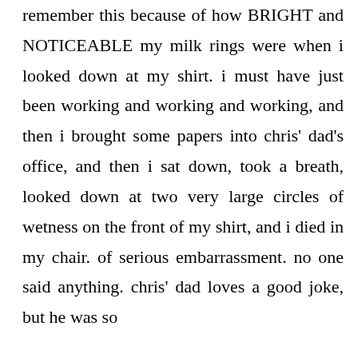remember this because of how BRIGHT and NOTICEABLE my milk rings were when i looked down at my shirt. i must have just been working and working and working, and then i brought some papers into chris' dad's office, and then i sat down, took a breath, looked down at two very large circles of wetness on the front of my shirt, and i died in my chair. of serious embarrassment. no one said anything. chris' dad loves a good joke, but he was so